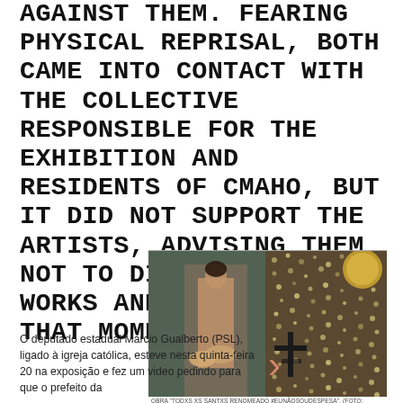AGAINST THEM. FEARING PHYSICAL REPRISAL, BOTH CAME INTO CONTACT WITH THE COLLECTIVE RESPONSIBLE FOR THE EXHIBITION AND RESIDENTS OF CMAHO, BUT IT DID NOT SUPPORT THE ARTISTS, ADVISING THEM NOT TO DIVULGE THE WORKS AND EVENTS OF THAT MOMENT.
[Figure (photo): Artwork photo showing a figure with sequined backdrop, labeled as obra 'Todxs xs santxs renomeado #eunãosoudespesa']
OBRA "TODXS XS SANTXS RENOMEADO #EUNÃOSOUDESPESA". (FOTO: REPRODUÇÃO)
O deputado estadual Márcio Gualberto (PSL), ligado à igreja católica, esteve nesta quinta-feira 20 na exposição e fez um video pedindo para que o prefeito da